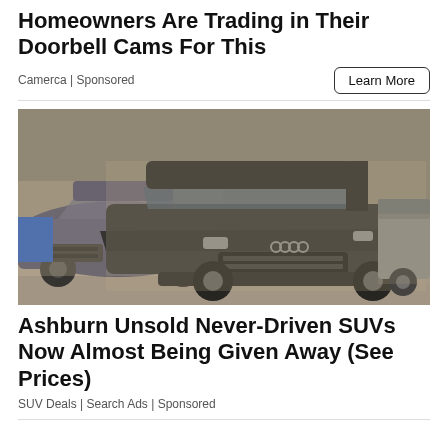Homeowners Are Trading in Their Doorbell Cams For This
Camerca | Sponsored
Learn More
[Figure (photo): Multiple dusty/dirty SUVs parked in a warehouse or parking facility. Prominent Audi Q7 in foreground, BMW X5 to the left, another vehicle to the right. Vehicles appear unused and covered in dust.]
Ashburn Unsold Never-Driven SUVs Now Almost Being Given Away (See Prices)
SUV Deals | Search Ads | Sponsored